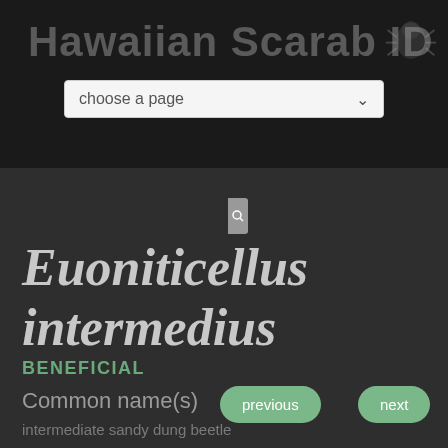Hawaiian Scarab ID
[Figure (screenshot): Dropdown selector with text 'choose a page' and a chevron arrow]
[Figure (screenshot): Search input field with placeholder 'search fact sheets']
Euoniticellus intermedius
BENEFICIAL
Common name(s)
intermediate sandy dung beetle
previous
next